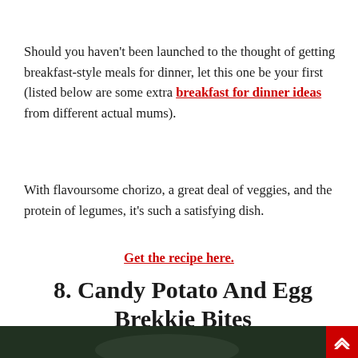Should you haven't been launched to the thought of getting breakfast-style meals for dinner, let this one be your first (listed below are some extra breakfast for dinner ideas from different actual mums).
With flavoursome chorizo, a great deal of veggies, and the protein of legumes, it's such a satisfying dish.
Get the recipe here.
8. Candy Potato And Egg Brekkie Bites
[Figure (photo): Partial photo of a dark food dish, cropped at bottom of page, with a red scroll-to-top button on the right side]